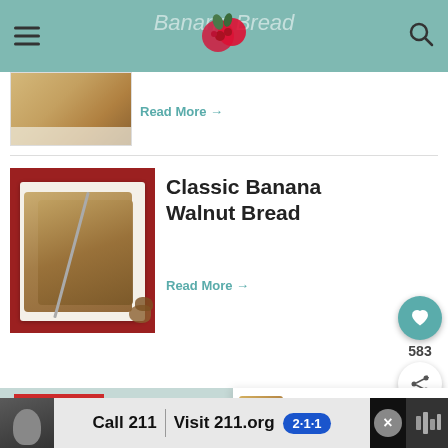Banana Bread
[Figure (photo): Banana bread on a white plate, partially visible at top]
Read More →
Classic Banana Walnut Bread
[Figure (photo): Sliced banana walnut bread on a white plate on a red background with walnuts]
Read More →
583
THE RECIPE:
The Best Banana Bread R…
[Figure (photo): WHAT'S NEXT → Buttermilk Banana Bread thumbnail]
WHAT'S NEXT → Buttermilk Banana Bread
[Figure (photo): Advertisement banner: Call 211 | Visit 211.org with 2-1-1 badge]